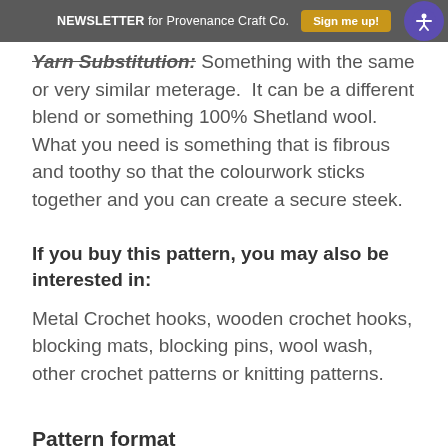NEWSLETTER for Provenance Craft Co. | Sign me up!
Yarn Substitution: Something with the same or very similar meterage. It can be a different blend or something 100% Shetland wool. What you need is something that is fibrous and toothy so that the colourwork sticks together and you can create a secure steek.
If you buy this pattern, you may also be interested in:
Metal Crochet hooks, wooden crochet hooks, blocking mats, blocking pins, wool wash, other crochet patterns or knitting patterns.
Pattern format